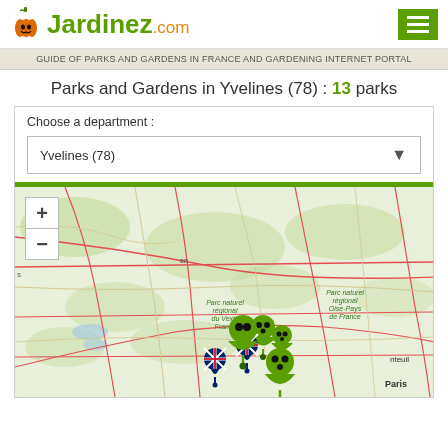Jardinez.com
GUIDE OF PARKS AND GARDENS IN FRANCE AND GARDENING INTERNET PORTAL
Parks and Gardens in Yvelines (78) : 13 parks
Choose a department :
Yvelines (78)
[Figure (map): Interactive map of Yvelines (78) showing park locations marked with green pin icons and flags (UK flags). Map shows the region around Paris including Parc naturel régional du Vexin Français and Parc naturel régional Oise-Pays de France. Several green markers with eyes icons and UK flag markers are visible near Paris and Cergy-Pontoise area.]